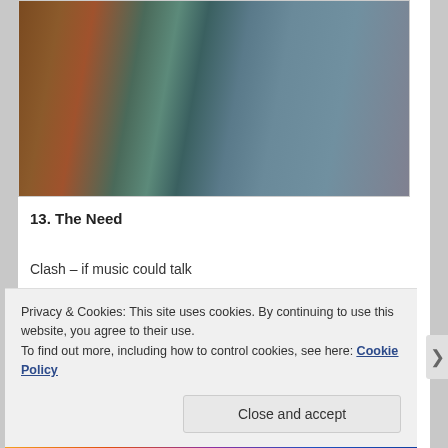[Figure (photo): Photo of two dogs, one brown/curly on the left and one larger dark/grey on the right, appearing to be near furniture indoors]
13. The Need
Clash – if music could talk
Jimi Hendrix – stone free again
John Martyn – I'd rather be the devil [part 2]
Privacy & Cookies: This site uses cookies. By continuing to use this website, you agree to their use.
To find out more, including how to control cookies, see here: Cookie Policy
Close and accept